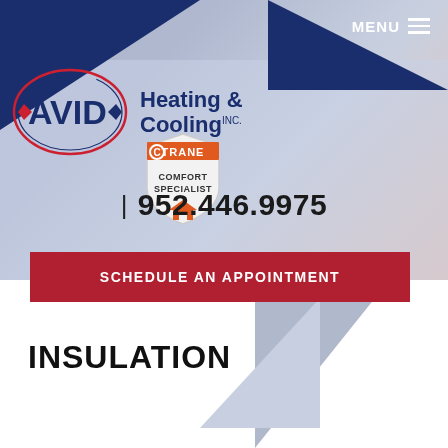MENU
[Figure (logo): AVID Heating & Cooling Inc. logo with Trane Comfort Specialist badge]
| 952.446.9975
SCHEDULE AN APPOINTMENT
INSULATION